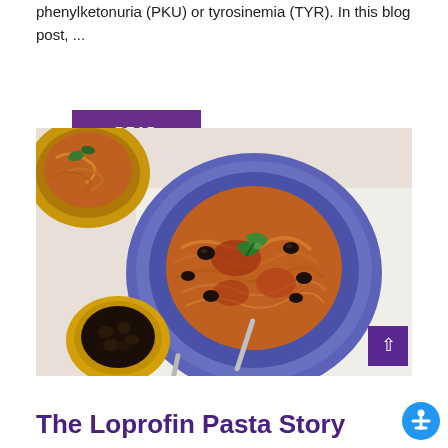phenylketonuria (PKU) or tyrosinemia (TYR). In this blog post, ...
READ MORE
[Figure (photo): Overhead photo of spaghetti pasta with tomato sauce and black olives on a blue plate, garnished with fresh basil leaves. A yellow bowl of black olives and another bowl of pasta visible in the background.]
The Loprofin Pasta Story